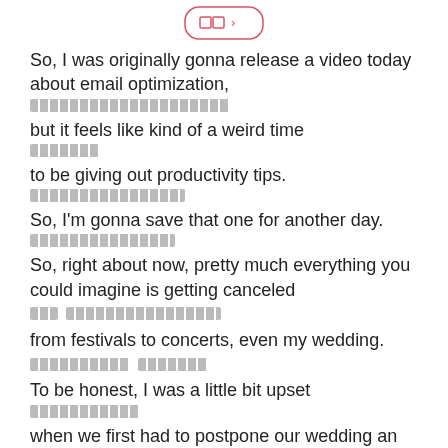[Figure (other): A small button/badge with two red squares icon and a right arrow, outlined in red/pink, centered at top of page]
So, I was originally gonna release a video today about email optimization,
[redacted line]
but it feels like kind of a weird time
[redacted line]
to be giving out productivity tips.
[redacted line]
So, I'm gonna save that one for another day.
[redacted line]
So, right about now, pretty much everything you could imagine is getting canceled
[redacted line with two segments]
from festivals to concerts, even my wedding.
[redacted line with two segments]
To be honest, I was a little bit upset
[redacted line]
when we first had to postpone our wedding an entire year,
[redacted line]
but compared to the NBA, I don't know.